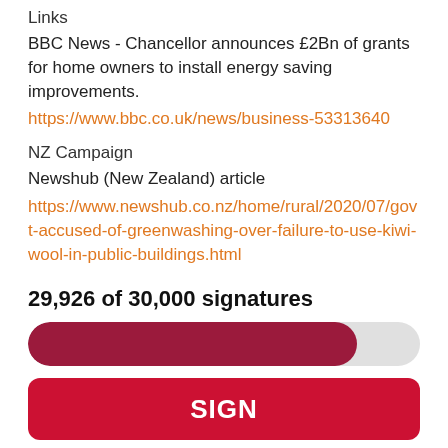Links
BBC News - Chancellor announces £2Bn of grants for home owners to install energy saving improvements.
https://www.bbc.co.uk/news/business-53313640
NZ Campaign
Newshub (New Zealand) article
https://www.newshub.co.nz/home/rural/2020/07/govt-accused-of-greenwashing-over-failure-to-use-kiwi-wool-in-public-buildings.html
29,926 of 30,000 signatures
[Figure (infographic): Progress bar showing 29,926 of 30,000 signatures, approximately 84% filled in dark red/maroon color]
SIGN